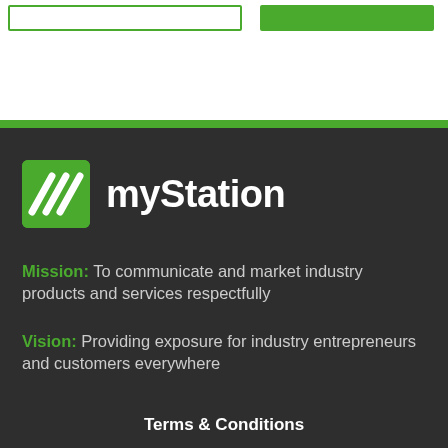[Figure (logo): myStation logo with green square icon containing diagonal stripes and white bold text 'myStation']
Mission: To communicate and market industry products and services respectfully
Vision: Providing exposure for industry entrepreneurs and customers everywhere
Terms & Conditions